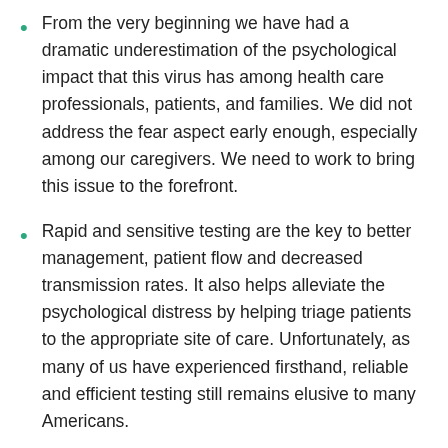From the very beginning we have had a dramatic underestimation of the psychological impact that this virus has among health care professionals, patients, and families. We did not address the fear aspect early enough, especially among our caregivers. We need to work to bring this issue to the forefront.
Rapid and sensitive testing are the key to better management, patient flow and decreased transmission rates. It also helps alleviate the psychological distress by helping triage patients to the appropriate site of care. Unfortunately, as many of us have experienced firsthand, reliable and efficient testing still remains elusive to many Americans.
We cannot rely on people to completely quarantine unless mandated. This is partly due to a combination of a lack of understanding of how the virus is